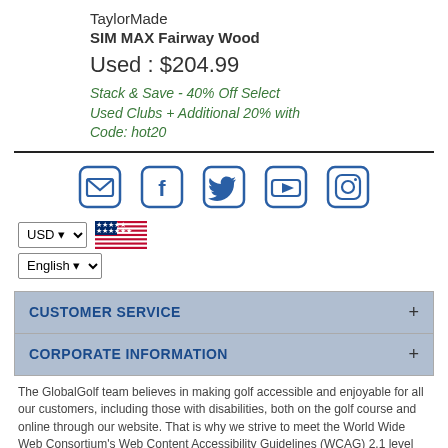TaylorMade
SIM MAX Fairway Wood
Used : $204.99
Stack & Save - 40% Off Select Used Clubs + Additional 20% with Code: hot20
[Figure (infographic): Social media icons row: email/envelope, Facebook, Twitter, YouTube, Instagram]
USD  English
CUSTOMER SERVICE
CORPORATE INFORMATION
The GlobalGolf team believes in making golf accessible and enjoyable for all our customers, including those with disabilities, both on the golf course and online through our website. That is why we strive to meet the World Wide Web Consortium's Web Content Accessibility Guidelines (WCAG) 2.1 level AA